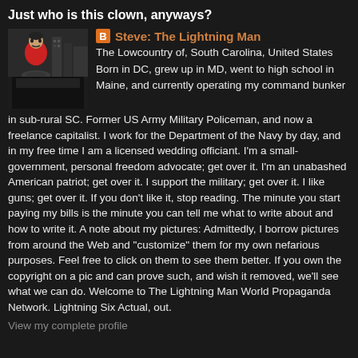Just who is this clown, anyways?
[Figure (illustration): Profile photo showing a person in red jacket in a stylized black and white illustration]
Steve: The Lightning Man
The Lowcountry of, South Carolina, United States
Born in DC, grew up in MD, went to high school in Maine, and currently operating my command bunker in sub-rural SC. Former US Army Military Policeman, and now a freelance capitalist. I work for the Department of the Navy by day, and in my free time I am a licensed wedding officiant. I'm a small-government, personal freedom advocate; get over it. I'm an unabashed American patriot; get over it. I support the military; get over it. I like guns; get over it. If you don't like it, stop reading. The minute you start paying my bills is the minute you can tell me what to write about and how to write it. A note about my pictures: Admittedly, I borrow pictures from around the Web and "customize" them for my own nefarious purposes. Feel free to click on them to see them better. If you own the copyright on a pic and can prove such, and wish it removed, we'll see what we can do. Welcome to The Lightning Man World Propaganda Network. Lightning Six Actual, out.
View my complete profile